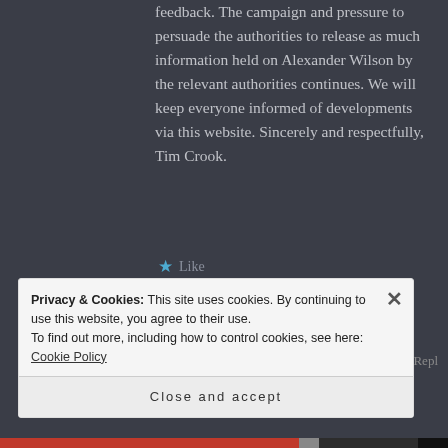feedback. The campaign and pressure to persuade the authorities to release as much information held on Alexander Wilson by the relevant authorities continues. We will keep everyone informed of developments via this website. Sincerely and respectfully, Tim Crook.
Like
DAVID HOLMAN.com
Privacy & Cookies: This site uses cookies. By continuing to use this website, you agree to their use.
To find out more, including how to control cookies, see here: Cookie Policy
Close and accept